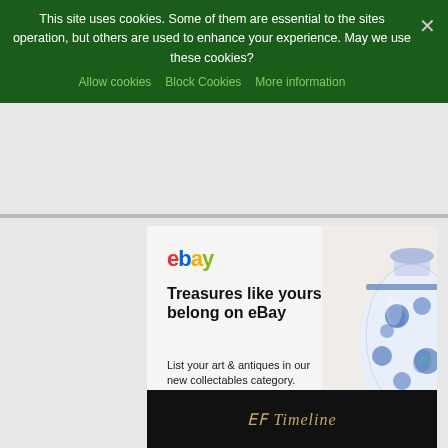This site uses cookies. Some of them are essential to the sites operation, but others are used to enhance your experience. May we use these cookies?
Allow cookies | Block Cookies | More information
[Figure (screenshot): eBay advertisement banner with eBay logo, headline 'Treasures like yours belong on eBay', subtext 'List your art & antiques in our new collectables category.', a 'Start listing →' button, a blue and white Chinese vase illustration, and a multicolor bar at the bottom.]
[Figure (screenshot): Bottom dark thumbnail showing a cursive gold text logo, partially visible, reading something like 'Timeline'.]